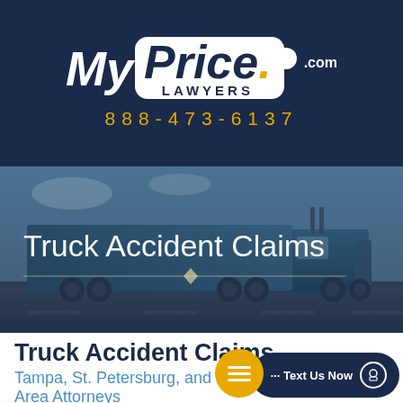[Figure (logo): MyPriceLawyers.com logo on dark navy background]
888-473-6137
[Figure (photo): Semi-truck on highway with dark blue overlay and 'Truck Accident Claims' text overlay with decorative divider line]
Truck Accident Claims
Tampa, St. Petersburg, and Lakeland Area Attorneys
[Figure (other): Chat button - orange circle with hamburger icon and 'Text Us Now' dark navy pill button]